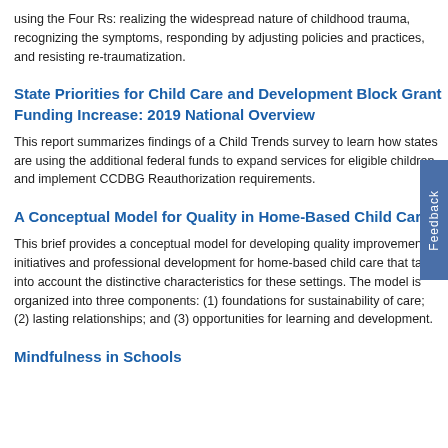using the Four Rs: realizing the widespread nature of childhood trauma, recognizing the symptoms, responding by adjusting policies and practices, and resisting re-traumatization.
State Priorities for Child Care and Development Block Grant Funding Increase: 2019 National Overview
This report summarizes findings of a Child Trends survey to learn how states are using the additional federal funds to expand services for eligible children and implement CCDBG Reauthorization requirements.
A Conceptual Model for Quality in Home-Based Child Care
This brief provides a conceptual model for developing quality improvement initiatives and professional development for home-based child care that takes into account the distinctive characteristics for these settings. The model is organized into three components: (1) foundations for sustainability of care; (2) lasting relationships; and (3) opportunities for learning and development.
Mindfulness in Schools